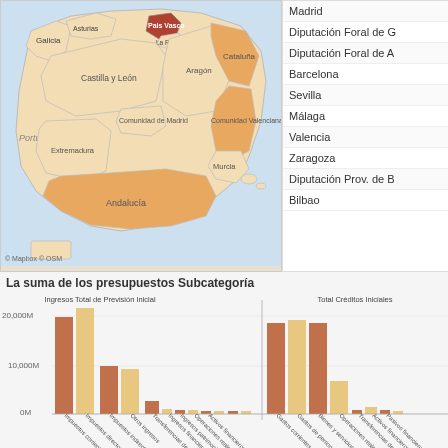[Figure (map): Map of Spain showing autonomous communities colored by budget data. Pais Vasco highlighted in dark red/brown. Cataluña, Andalucía, Comunidad Valenciana in orange. Other regions in lighter shades. Labels: Galicia, Asturias, Pais Vasco, La Rioja, Castilla y León, Aragón, Cataluña, Comunidad de Madrid, Extremadura, Comunidad Valenciana, Murcia, Andalucía. Portugal label on left. Small islands visible bottom right.]
Madrid
Diputación Foral de G
Diputación Foral de A
Barcelona
Sevilla
Málaga
Valencia
Zaragoza
Diputación Prov. de B
Bilbao
La suma de los presupuestos Subcategoría
[Figure (grouped-bar-chart): La suma de los presupuestos Subcategoría]